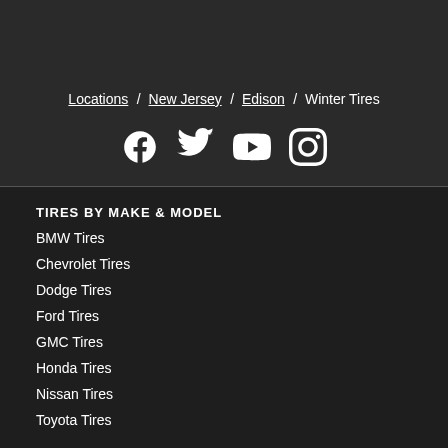Locations / New Jersey / Edison / Winter Tires
[Figure (illustration): Social media icons: Facebook, Twitter, YouTube, Instagram]
TIRES BY MAKE & MODEL
BMW Tires
Chevrolet Tires
Dodge Tires
Ford Tires
GMC Tires
Honda Tires
Nissan Tires
Toyota Tires